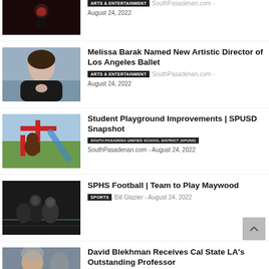[Figure (photo): Partial top article image — performer on dark stage background]
ARTS & ENTERTAINMENT · SouthPasadenan.com - August 24, 2022
[Figure (photo): Woman with dark hair and black turtleneck posing with hands clasped]
Melissa Barak Named New Artistic Director of Los Angeles Ballet
ARTS & ENTERTAINMENT · SouthPasadenan.com - August 24, 2022
[Figure (photo): School mascot on playground equipment with colourful red structure]
Student Playground Improvements | SPUSD Snapshot
SOUTH PASADENA UNIFIED SCHOOL DISTRICT (SPUSD) · SouthPasadenan.com - August 24, 2022
[Figure (photo): Football players in dark uniforms during a game]
SPHS Football | Team to Play Maywood
SPORTS · Bill Glazier - August 24, 2022
[Figure (photo): Partial image of a man, bottom article cut off]
David Blekhman Receives Cal State LA's Outstanding Professor